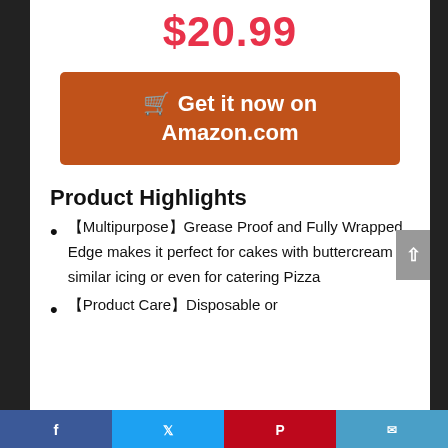$20.99
[Figure (other): Orange button: shopping cart icon with text 'Get it now on Amazon.com']
Product Highlights
【Multipurpose】Grease Proof and Fully Wrapped Edge makes it perfect for cakes with buttercream or similar icing or even for catering Pizza
【Product Care】Disposable or
[Figure (other): Social sharing bar at bottom with Facebook (blue), Twitter (light blue), Pinterest (red), and email (teal) buttons]